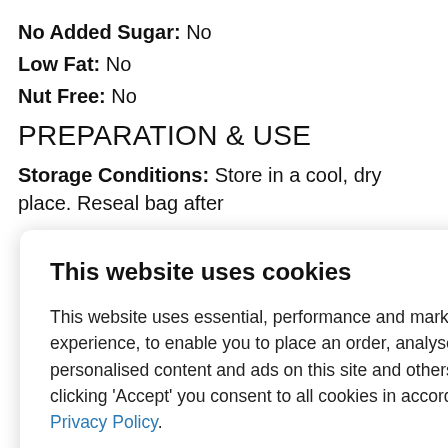No Added Sugar: No
Low Fat: No
Nut Free: No
PREPARATION & USE
Storage Conditions: Store in a cool, dry place. Reseal bag after
[Figure (screenshot): Cookie consent modal dialog with title 'This website uses cookies', body text explaining cookie usage, links to Cookies and Privacy Policy, Accept all cookies button (dark red), Close button (dark), and Read more button (light gray).]
NUTRITION